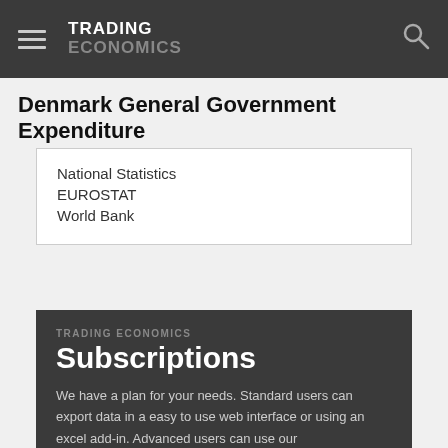TRADING ECONOMICS
Denmark General Government Expenditure
National Statistics
EUROSTAT
World Bank
TRADING ECONOMICS Subscriptions
We have a plan for your needs. Standard users can export data in a easy to use web interface or using an excel add-in. Advanced users can use our Python/R/Matlab packages. API users can feed a custom application. White label accounts can distribute our data.